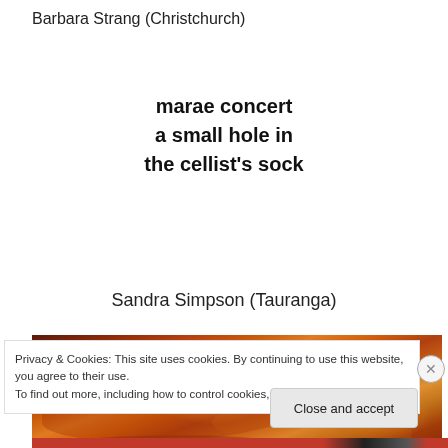Barbara Strang (Christchurch)
marae concert
a small hole in
the cellist's sock
Sandra Simpson (Tauranga)
[Figure (photo): Dramatic sunset sky with fiery orange and deep red clouds illuminated by golden light]
Privacy & Cookies: This site uses cookies. By continuing to use this website, you agree to their use.
To find out more, including how to control cookies, see here: Cookie Policy
Close and accept